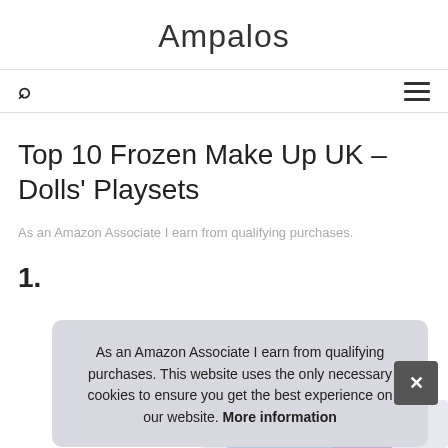Ampalos
Top 10 Frozen Make Up UK – Dolls' Playsets
As an Amazon Associate I earn from qualifying purchases.
1.
As an Amazon Associate I earn from qualifying purchases. This website uses the only necessary cookies to ensure you get the best experience on our website. More information